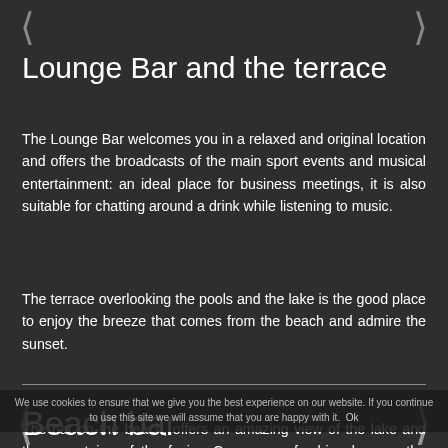Lounge Bar and the terrace
The Lounge Bar welcomes you in a relaxed and original location and offers the broadcasts of the main sport events and musical entertainment: an ideal place for business meetings, it is also suitable for chatting around a drink while listening to music.
The terrace overlooking the pools and the lake is the good place to enjoy the breeze that comes from the beach and admire the sunset.
Beach bar
The bar on the beach, offers an amazing view of the lake and the mountains of the facing Congo; a refreshing breeze, the shade of the palm trees and a good fresh drink will delight your afternoons. Open on weekends.
We use cookies to ensure that we give you the best experience on our website. If you continue to use this site we will assume that you are happy with it. Ok